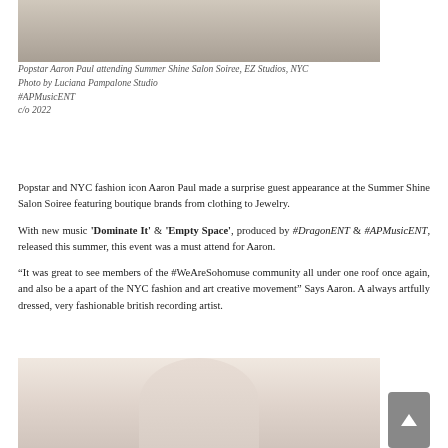[Figure (photo): Top portion of a photo showing a surface, partial view of a person at the Summer Shine Salon Soiree event]
Popstar Aaron Paul attending Summer Shine Salon Soiree, EZ Studios, NYC
Photo by Luciana Pampalone Studio
#APMusicENT
c/o 2022
Popstar and NYC fashion icon Aaron Paul made a surprise guest appearance at the Summer Shine Salon Soiree featuring boutique brands from clothing to Jewelry.
With new music 'Dominate It' & 'Empty Space', produced by #DragonENT & #APMusicENT, released this summer, this event was a must attend for Aaron.
“It was great to see members of the #WeAreSohomuse community all under one roof once again, and also be a apart of the NYC fashion and art creative movement” Says Aaron. A always artfully dressed, very fashionable british recording artist.
[Figure (photo): Bottom portion showing a person (Aaron Paul) at the event, partial view cropped]